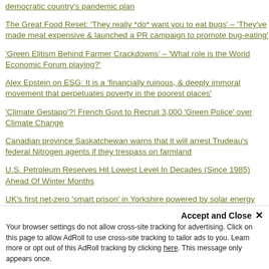democratic country's pandemic plan
The Great Food Reset: 'They really *do* want you to eat bugs' – 'They've made meat expensive & launched a PR campaign to promote bug-eating'
'Green Elitism Behind Farmer Crackdowns' – 'What role is the World Economic Forum playing?'
Alex Epstein on ESG: It is a 'financially ruinous, & deeply immoral movement that perpetuates poverty in the poorest places'
'Climate Gestapo'?! French Govt to Recruit 3,000 'Green Police' over Climate Change
Canadian province Saskatchewan warns that it will arrest Trudeau's federal Nitrogen agents if they trespass on farmland
U.S. Petroleum Reserves Hit Lowest Level In Decades (Since 1985) Ahead Of Winter Months
UK's first net-zero 'smart prison' in Yorkshire powered by solar energy where inmates have TABLETS in their cells
Watch: Morano's 1-hour Great Reset presentation! 'Global Crises & The Permanent Lockdown'
Accept and Close ×
Your browser settings do not allow cross-site tracking for advertising. Click on this page to allow AdRoll to use cross-site tracking to tailor ads to you. Learn more or opt out of this AdRoll tracking by clicking here. This message only appears once.